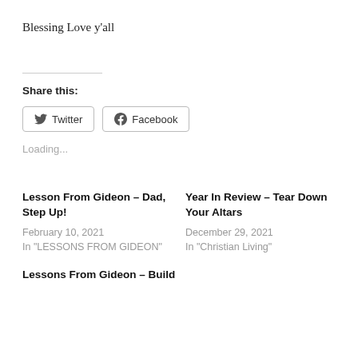Blessing Love y'all
Share this:
Twitter  Facebook
Loading...
Lesson From Gideon – Dad, Step Up!
February 10, 2021
In "LESSONS FROM GIDEON"
Year In Review – Tear Down Your Altars
December 29, 2021
In "Christian Living"
Lessons From Gideon – Build